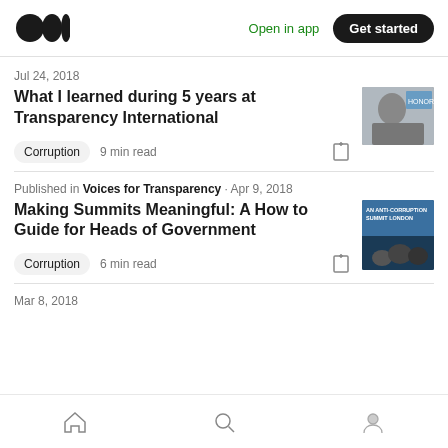Medium — Open in app  Get started
Jul 24, 2018
What I learned during 5 years at Transparency International
Corruption  9 min read
Published in Voices for Transparency · Apr 9, 2018
Making Summits Meaningful: A How to Guide for Heads of Government
Corruption  6 min read
Mar 8, 2018
Home  Search  Profile